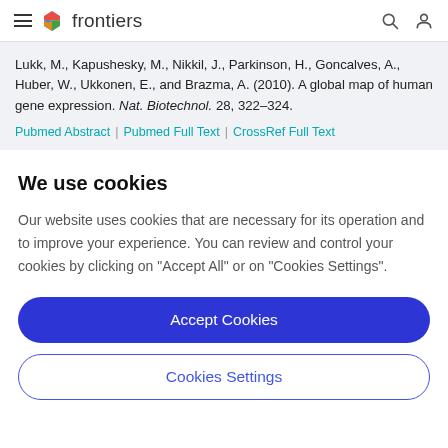frontiers
Lukk, M., Kapushesky, M., Nikkil, J., Parkinson, H., Goncalves, A., Huber, W., Ukkonen, E., and Brazma, A. (2010). A global map of human gene expression. Nat. Biotechnol. 28, 322–324.
Pubmed Abstract | Pubmed Full Text | CrossRef Full Text
We use cookies
Our website uses cookies that are necessary for its operation and to improve your experience. You can review and control your cookies by clicking on "Accept All" or on "Cookies Settings".
Accept Cookies
Cookies Settings